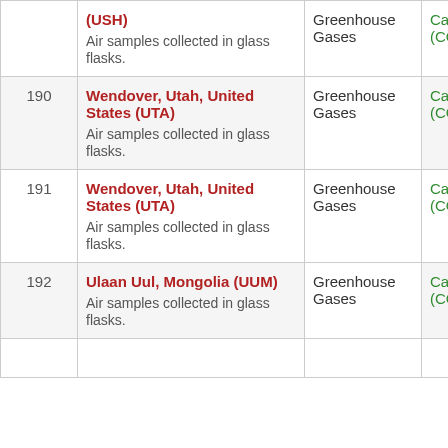| # | Location | Category | Gas |
| --- | --- | --- | --- |
|  | (USH)
Air samples collected in glass flasks. | Greenhouse Gases | Carbon Dioxide (CO2) |
| 190 | Wendover, Utah, United States (UTA)
Air samples collected in glass flasks. | Greenhouse Gases | Carbon Dioxide (CO2) |
| 191 | Wendover, Utah, United States (UTA)
Air samples collected in glass flasks. | Greenhouse Gases | Carbon Dioxide (CO2) |
| 192 | Ulaan Uul, Mongolia (UUM)
Air samples collected in glass flasks. | Greenhouse Gases | Carbon Dioxide (CO2) |